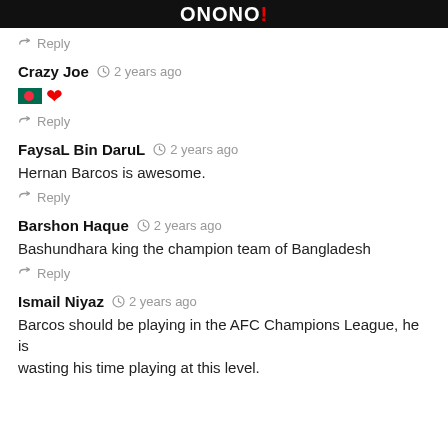ONONO!
Reply
Crazy Joe  2 years ago
[Figure (illustration): Bangladesh flag emoji and red heart emoji]
Reply
FaysaL Bin DaruL  2 years ago
Hernan Barcos is awesome.
Reply
Barshon Haque  2 years ago
Bashundhara king the champion team of Bangladesh
Reply
Ismail Niyaz  2 years ago
Barcos should be playing in the AFC Champions League, he is wasting his time playing at this level.